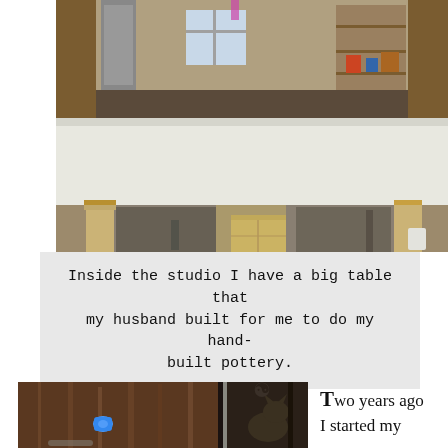[Figure (photo): Interior of a workshop/studio showing a large flat table with a white surface, built with wooden frame supports. Behind the table are shelves with supplies, a window letting in light, and various studio items visible.]
Inside the studio I have a big table that my husband built for me to do my hand-built pottery.
[Figure (photo): Left portion: close-up photo of a person's head with brown hair tied with a small blue hair clip. Right portion: a cat visible in a darker background setting.]
Two years ago I started my